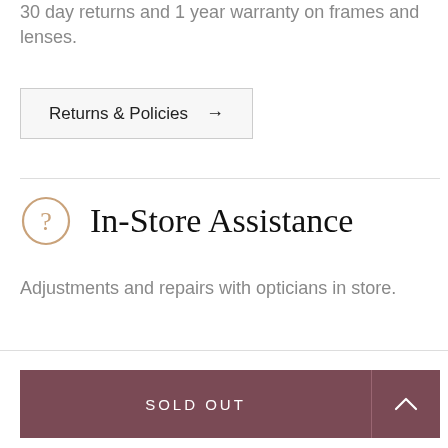30 day returns and 1 year warranty on frames and lenses.
Returns & Policies →
In-Store Assistance
Adjustments and repairs with opticians in store.
SOLD OUT